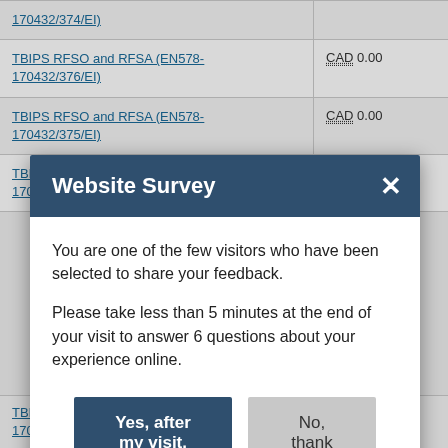| Contract | Value |
| --- | --- |
| TBIPS RFSO and RFSA (EN578-170432/376/EI) | CAD 0.00 |
| TBIPS RFSO and RFSA (EN578-170432/375/EI) | CAD 0.00 |
| TBIPS RFSO and RFSA (EN578-170432/374/EI) | CAD 0.00 |
| TBIPS RFSO and RFSA (EN578-170432/391/EI) | CAD 0.00 |
Website Survey
You are one of the few visitors who have been selected to share your feedback.

Please take less than 5 minutes at the end of your visit to answer 6 questions about your experience online.
Yes, after my visit.
No, thank you.